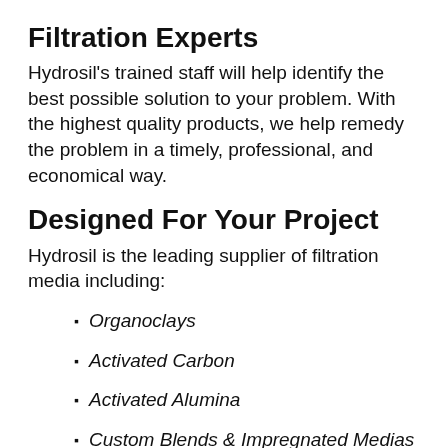Filtration Experts
Hydrosil's trained staff will help identify the best possible solution to your problem. With the highest quality products, we help remedy the problem in a timely, professional, and economical way.
Designed For Your Project
Hydrosil is the leading supplier of filtration media including:
Organoclays
Activated Carbon
Activated Alumina
Custom Blends & Impregnated Medias